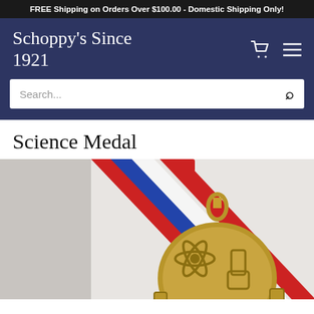FREE Shipping on Orders Over $100.00 - Domestic Shipping Only!
Schoppy's Since 1921
Search...
Science Medal
[Figure (photo): A bronze/gold science medal with an atomic/molecule symbol and laboratory equipment design, hanging from a red, white and blue ribbon lanyard with a gold clasp.]